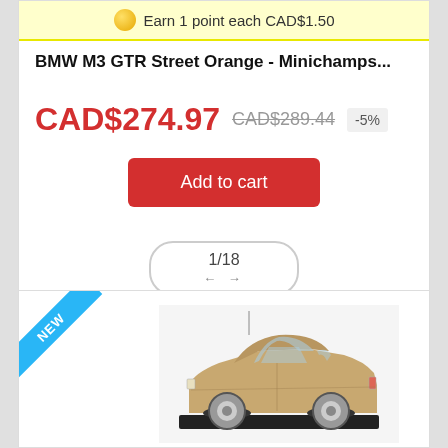Earn 1 point each CAD$1.50
BMW M3 GTR Street Orange - Minichamps...
CAD$274.97  CAD$289.44  -5%
Add to cart
1/18
[Figure (photo): Gold/beige classic car model (scale model) on a black base, photographed against white background. Appears to be a 1960s-70s coupe model.]